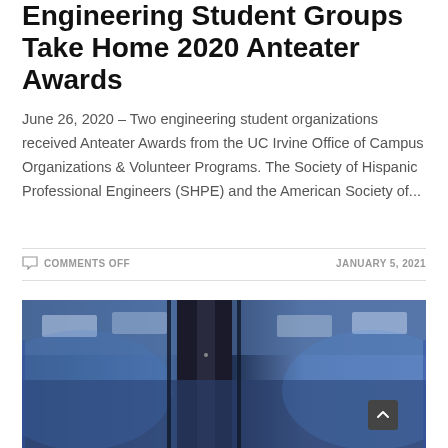Engineering Student Groups Take Home 2020 Anteater Awards
June 26, 2020 – Two engineering student organizations received Anteater Awards from the UC Irvine Office of Campus Organizations & Volunteer Programs. The Society of Hispanic Professional Engineers (SHPE) and the American Society of...
COMMENTS OFF   JANUARY 5, 2021
[Figure (photo): Interior photo with blue-tinted lighting, showing a dark corridor or hallway with ceiling panels visible. Bluish ambient light illuminates the space.]